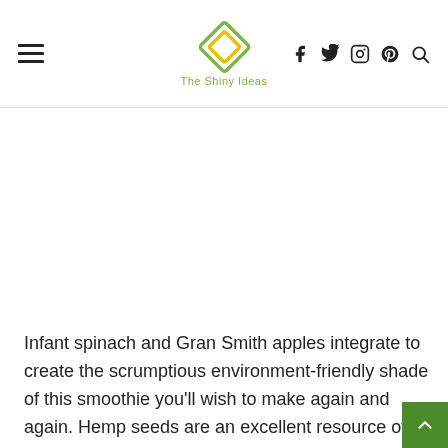The Shiny Ideas — navigation header with hamburger menu, logo, social icons (facebook, twitter, instagram, pinterest, search)
Infant spinach and Gran Smith apples integrate to create the scrumptious environment-friendly shade of this smoothie you'll wish to make again and again. Hemp seeds are an excellent resource of plant healthy protein, and they're also packed with omega-3s, omega-6 fats, fiber, magnesium, as w